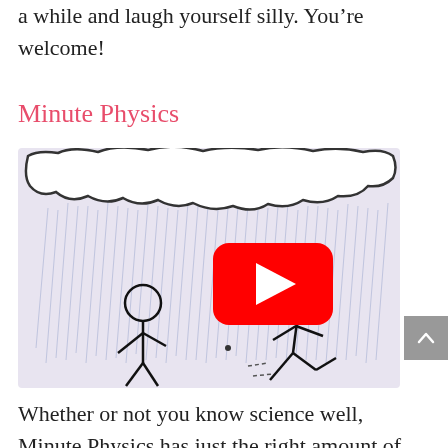a while and laugh yourself silly. You're welcome!
Minute Physics
[Figure (screenshot): YouTube video thumbnail showing two stick figures in the rain with a YouTube play button overlay. One stick figure stands still while the other runs. Rain is depicted as diagonal lines falling from a cloud above.]
Whether or not you know science well, Minute Physics has just the right amount of useful science that will make you feel... useful! In under a minute let these stick